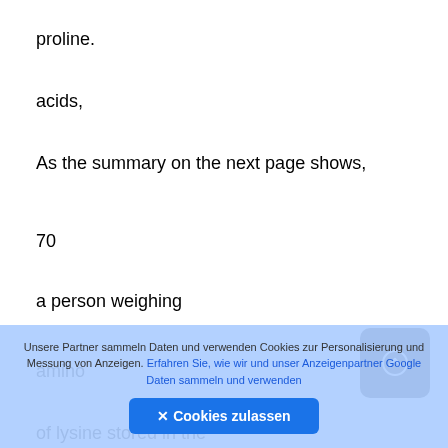proline.
acids,
As the summary on the next page shows,
70
a person weighing
amino
of lysine stored in the
[Figure (other): Dark rounded square button with a circle-arrow (scroll to top) icon]
Unsere Partner sammeln Daten und verwenden Cookies zur Personalisierung und Messung von Anzeigen. Erfahren Sie, wie wir und unser Anzeigenpartner Google Daten sammeln und verwenden
✕ Cookies zulassen